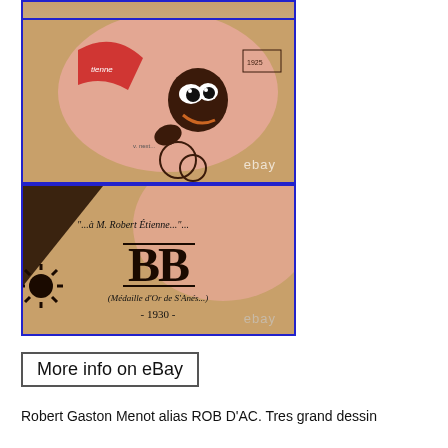[Figure (photo): Cropped top portion of illustration showing cartoon character with newspaper, against pink circular background, with blue border]
[Figure (photo): Cartoon illustration of a caricatured figure with large eyes spinning/rolling, against a pink circular background on tan paper, blue border, with ebay watermark]
[Figure (photo): Signature and dedication on tan paper: '...a M. Robert Etienne...', stylized BB monogram, '(Medaille d'Or de S'Anés...)' and '-1930-', with scorpion illustration, blue border, ebay watermark]
More info on eBay
Robert Gaston Menot alias ROB D'AC. Tres grand dessin